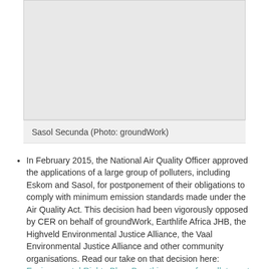[Figure (photo): Photo of Sasol Secunda, a large industrial facility]
Sasol Secunda (Photo: groundWork)
In February 2015, the National Air Quality Officer approved the applications of a large group of polluters, including Eskom and Sasol, for postponement of their obligations to comply with minimum emission standards made under the Air Quality Act. This decision had been vigorously opposed by CER on behalf of groundWork, Earthlife Africa JHB, the Highveld Environmental Justice Alliance, the Vaal Environmental Justice Alliance and other community organisations. Read our take on that decision here: Environmental Rights Blog: Breathing space for polluters at the expense of public health. And yet there were also some wins, including requirements for increased pollution controls at 9 Eskom power stations.
In March 2015, we celebrated Human Rights Day in Davidsonville, one